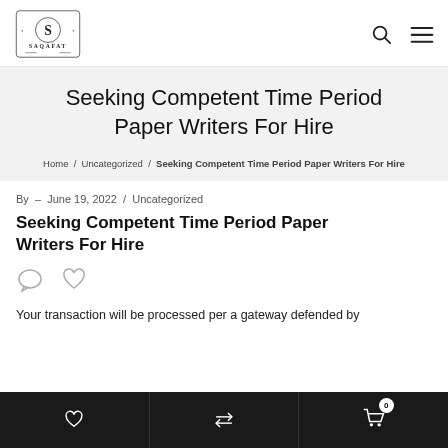SAQAFAT logo with search and menu icons
Seeking Competent Time Period Paper Writers For Hire
Home / Uncategorized / Seeking Competent Time Period Paper Writers For Hire
By – June 19, 2022 / Uncategorized
Seeking Competent Time Period Paper Writers For Hire
Your transaction will be processed per a gateway defended by
0